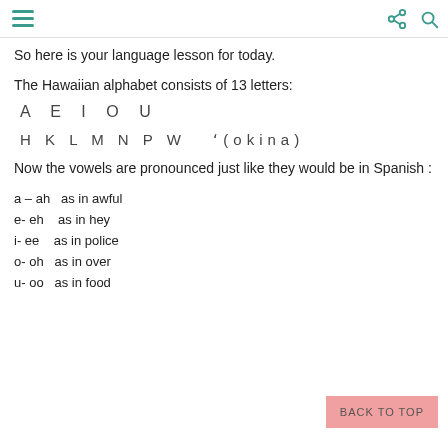Navigation and sharing icons
So here is your language lesson for today.
The Hawaiian alphabet consists of 13 letters:
A  E  I  O  U
H  K  L  M  N  P  W   ʻ(okina)
Now the vowels are pronounced just like they would be in Spanish :
a – ah   as in awful
e- eh    as in hey
i- ee    as in police
o- oh   as in over
u- oo   as in food